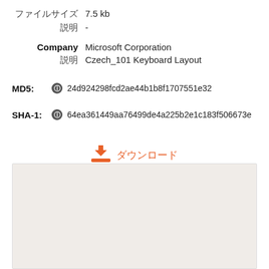ファイル名  7.5 kb
説明  -
Company  Microsoft Corporation
説明  Czech_101 Keyboard Layout
MD5:  24d924298fcd2ae44b1b8f1707551e32
SHA-1:  64ea361449aa76499de4a225b2e1c183f506673e
[Figure (other): Orange download icon with Japanese text for download button]
Zip ファイルサイズ:  4.3 kb
[Figure (other): Light beige/tan preview area box]